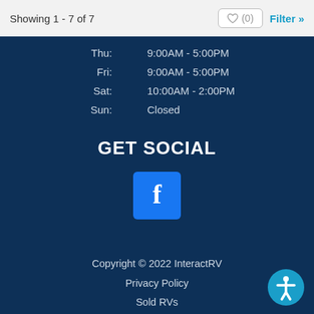Showing 1 - 7 of 7
| Day | Hours |
| --- | --- |
| Thu: | 9:00AM - 5:00PM |
| Fri: | 9:00AM - 5:00PM |
| Sat: | 10:00AM - 2:00PM |
| Sun: | Closed |
GET SOCIAL
[Figure (logo): Facebook logo icon - white lowercase f on blue square background]
Copyright © 2022 InteractRV
Privacy Policy
Sold RVs
RV Dealer Website Design
[Figure (illustration): Accessibility icon - white figure with arms outstretched inside a blue circle]